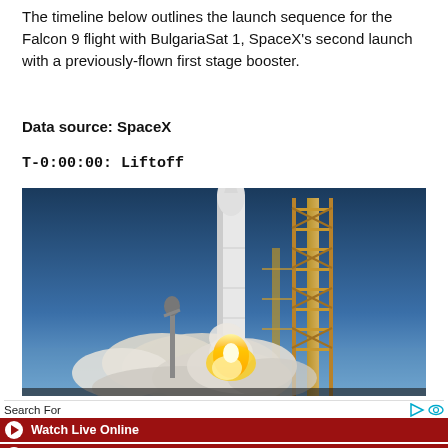The timeline below outlines the launch sequence for the Falcon 9 flight with BulgariaSat 1, SpaceX's second launch with a previously-flown first stage booster.
Data source: SpaceX
T-0:00:00: Liftoff
[Figure (photo): Falcon 9 rocket lifting off from launch pad with bright flame and smoke, launch tower visible on right, blue sky background]
Search For
Watch Live Online
SpaceX Launch Live Stream